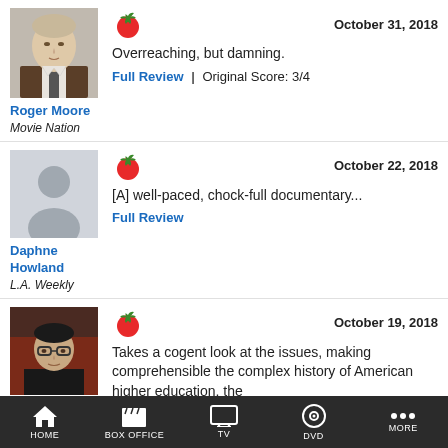[Figure (photo): Headshot of Roger Moore, a man in a suit]
Roger Moore
Movie Nation
October 31, 2018
Overreaching, but damning.
Full Review | Original Score: 3/4
[Figure (photo): Default avatar placeholder silhouette]
Daphne Howland
L.A. Weekly
October 22, 2018
[A] well-paced, chock-full documentary...
Full Review
[Figure (photo): Headshot of Peter, a man with glasses]
Peter
October 19, 2018
Takes a cogent look at the issues, making comprehensible the complex history of American higher education, the
HOME | BOX OFFICE | TV | DVD | MORE